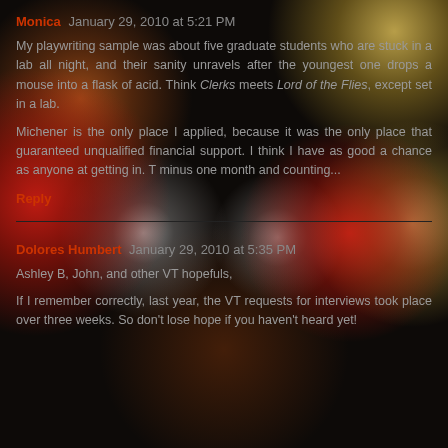Monica January 29, 2010 at 5:21 PM
My playwriting sample was about five graduate students who are stuck in a lab all night, and their sanity unravels after the youngest one drops a mouse into a flask of acid. Think Clerks meets Lord of the Flies, except set in a lab.
Michener is the only place I applied, because it was the only place that guaranteed unqualified financial support. I think I have as good a chance as anyone at getting in. T minus one month and counting...
Reply
Dolores Humbert January 29, 2010 at 5:35 PM
Ashley B, John, and other VT hopefuls,
If I remember correctly, last year, the VT requests for interviews took place over three weeks. So don't lose hope if you haven't heard yet!